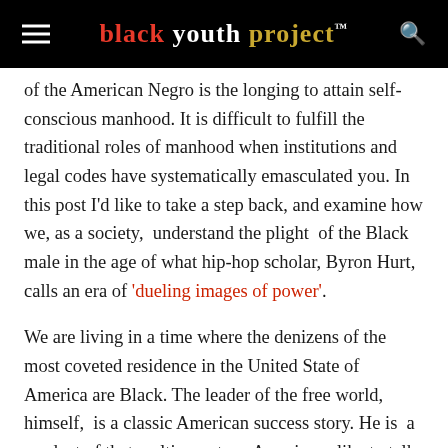black youth project™
of the American Negro is the longing to attain self-conscious manhood. It is difficult to fulfill the traditional roles of manhood when institutions and legal codes have systematically emasculated you. In this post I'd like to take a step back, and examine how we, as a society, understand the plight of the Black male in the age of what hip-hop scholar, Byron Hurt, calls an era of 'dueling images of power'.
We are living in a time where the denizens of the most coveted residence in the United State of America are Black. The leader of the free world, himself, is a classic American success story. He is a product of that melting pot we Americans like to talk about so much. Seeing him, and his family, at the White House, allows us to soak in an image that personifies a country that may well live up to its billing as a